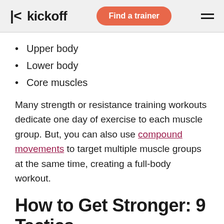kickoff | Find a trainer
Upper body
Lower body
Core muscles
Many strength or resistance training workouts dedicate one day of exercise to each muscle group. But, you can also use compound movements to target multiple muscle groups at the same time, creating a full-body workout.
How to Get Stronger: 9 Tactics to Build Strength